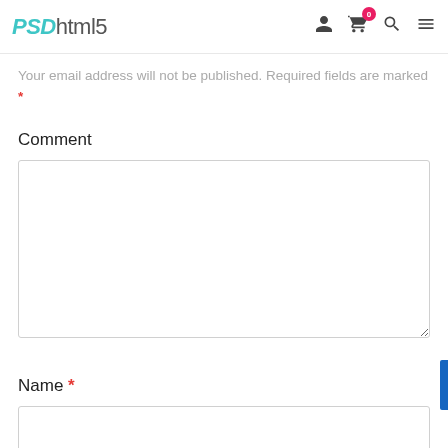PSDhtml5
Your email address will not be published. Required fields are marked *
Comment
[Figure (screenshot): Empty comment textarea input field]
Name *
[Figure (screenshot): Empty name text input field]